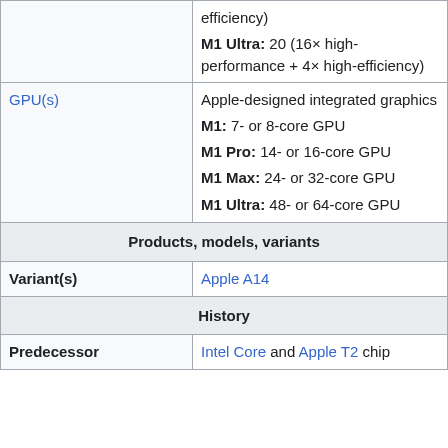| Property | Value |
| --- | --- |
|  | efficiency)
M1 Ultra: 20 (16× high-performance + 4× high-efficiency) |
| GPU(s) | Apple-designed integrated graphics
M1: 7- or 8-core GPU
M1 Pro: 14- or 16-core GPU
M1 Max: 24- or 32-core GPU
M1 Ultra: 48- or 64-core GPU |
| Products, models, variants |  |
| Variant(s) | Apple A14 |
| History |  |
| Predecessor | Intel Core and Apple T2 chip |